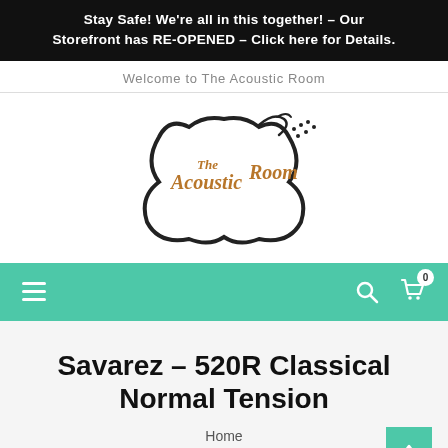Stay Safe! We're all in this together! – Our Storefront has RE-OPENED – Click here for Details.
Welcome to The Acoustic Room
[Figure (logo): The Acoustic Room logo: guitar body outline shape in black with 'The Acoustic Room' text in brown/tan retro style lettering inside]
[Figure (screenshot): Teal navigation bar with hamburger menu on left, search icon and cart icon (with 0 badge) on right]
Savarez – 520R Classical Normal Tension
Home